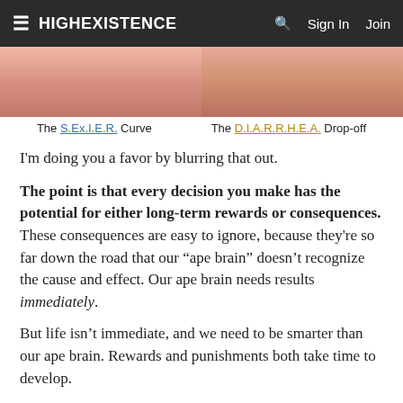≡ HIGHEXISTENCE  🔍  Sign In  Join
[Figure (photo): Two blurred close-up images of lips/mouths side by side, separated by a vertical divider line.]
The S.Ex.I.E.R. Curve     The D.I.A.R.R.H.E.A. Drop-off
I'm doing you a favor by blurring that out.
The point is that every decision you make has the potential for either long-term rewards or consequences. These consequences are easy to ignore, because they're so far down the road that our "ape brain" doesn't recognize the cause and effect. Our ape brain needs results immediately.
But life isn't immediate, and we need to be smarter than our ape brain. Rewards and punishments both take time to develop.
Every decision you make either slides you into